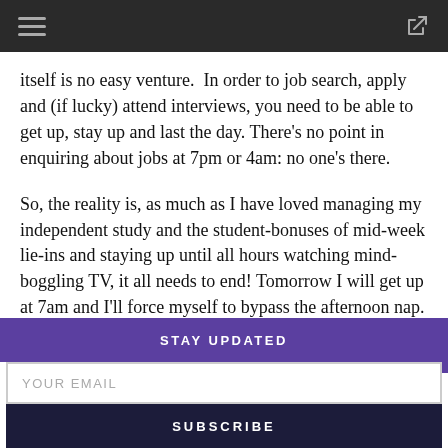itself is no easy venture.  In order to job search, apply and (if lucky) attend interviews, you need to be able to get up, stay up and last the day. There's no point in enquiring about jobs at 7pm or 4am: no one's there.
So, the reality is, as much as I have loved managing my independent study and the student-bonuses of mid-week lie-ins and staying up until all hours watching mind-boggling TV, it all needs to end! Tomorrow I will get up at 7am and I'll force myself to bypass the afternoon nap. Will it happen? Wil last? Here's hoping it does or some graduation…
STAY UPDATED
YOUR EMAIL
SUBSCRIBE